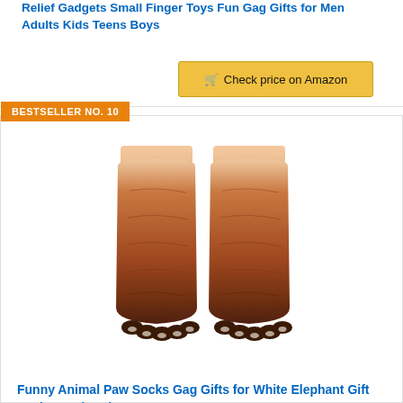Relief Gadgets Small Finger Toys Fun Gag Gifts for Men Adults Kids Teens Boys
[Figure (other): Check price on Amazon button (gold/yellow background with cart icon)]
BESTSELLER NO. 10
[Figure (photo): Photo of animal paw socks (dog paw design) worn on two legs, showing brown fur pattern with claws at the bottom]
Funny Animal Paw Socks Gag Gifts for White Elephant Gift Exchange (Dog)
[Figure (other): Check price on Amazon button (gold/yellow background with cart icon)]